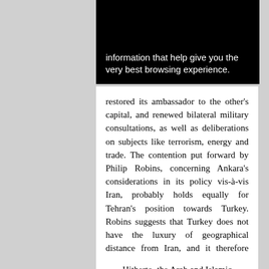[Figure (screenshot): Black banner with white text reading 'information that help give you the very best browsing experience.']
restored its ambassador to the other's capital, and renewed bilateral military consultations, as well as deliberations on subjects like terrorism, energy and trade. The contention put forward by Philip Robins, concerning Ankara's considerations in its policy vis-à-vis Iran, probably holds equally for Tehran's position towards Turkey. Robins suggests that Turkey does not have the luxury of geographical distance from Iran, and it therefore seeks ways of reaching an understanding with Tehran, albeit maintaining a critical approach towards Iran. The same could be argued in the reverse direction.121
Hitherto, the Arab and Islamic